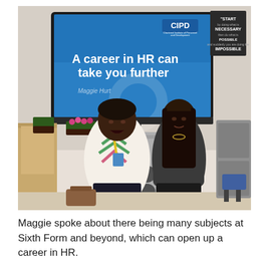[Figure (photo): Two women standing in a classroom in front of a large screen displaying a CIPD presentation slide that reads 'A career in HR can take you further' by Maggie Hurt. One woman (Maggie) is wearing a patterned white top with colorful chevron designs and a yellow lanyard. The other is a younger woman in a dark top. Behind them are wooden furniture, plants, and a motivational poster on the wall.]
Maggie spoke about there being many subjects at Sixth Form and beyond, which can open up a career in HR.